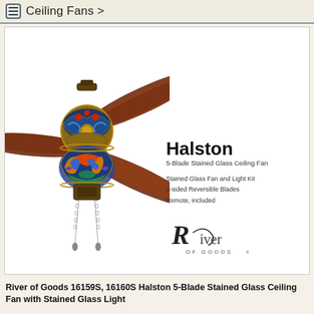Ceiling Fans >
16160S Blues
[Figure (photo): Halston 5-Blade Stained Glass Ceiling Fan with Tiffany-style stained glass light kit showing colorful blue, green, orange pattern globe, dark walnut wood blades, pull chains, and mounting bracket, displayed on white background]
Halston
5-Blade Stained Glass Ceiling Fan
Stained Glass Fan and Light Kit
2-sided Reversible Blades
Remote, included
[Figure (logo): River of Goods logo with stylized R and cursive text]
River of Goods 16159S, 16160S Halston 5-Blade Stained Glass Ceiling Fan with Stained Glass Light